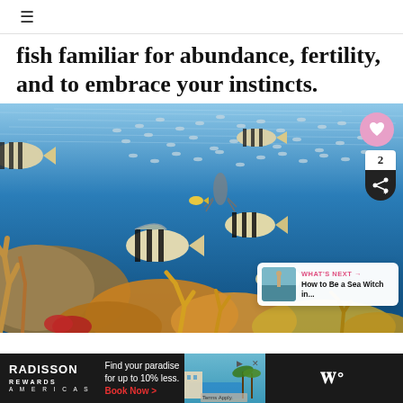☰
fish familiar for abundance, fertility, and to embrace your instincts.
[Figure (photo): Underwater coral reef scene with tropical fish including black-and-white striped sergeant major fish swimming among colorful coral formations and a dense school of silvery fish in blue water. Overlays include a heart/like button, share button with count '2', and a 'What's Next' preview card for 'How to Be a Sea Witch in...']
[Figure (infographic): Advertisement banner: Radisson Rewards Americas logo on dark background with text 'Find your paradise for up to 10% less. Book Now >' and a resort pool image, followed by a 'W°' logo on dark background.]